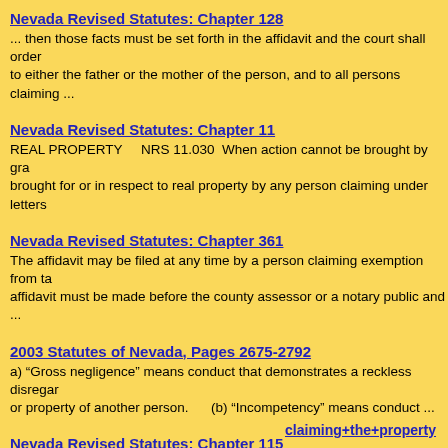Nevada Revised Statutes: Chapter 128
... then those facts must be set forth in the affidavit and the court shall order to either the father or the mother of the person, and to all persons claiming ...
Nevada Revised Statutes: Chapter 11
REAL PROPERTY      NRS 11.030   When action cannot be brought by gra brought for or in respect to real property by any person claiming under letters
Nevada Revised Statutes: Chapter 361
The affidavit may be filed at any time by a person claiming exemption from ta affidavit must be made before the county assessor or a notary public and ...
2003 Statutes of Nevada, Pages 2675-2792
a) “Gross negligence” means conduct that demonstrates a reckless disregar or property of another person.      (b) “Incompetency” means conduct ...
Nevada Revised Statutes: Chapter 115
1.  Whenever execution has been issued against the property of a party clai the creditor in the judgment makes an oath before the judge of the district co
claiming+the+property